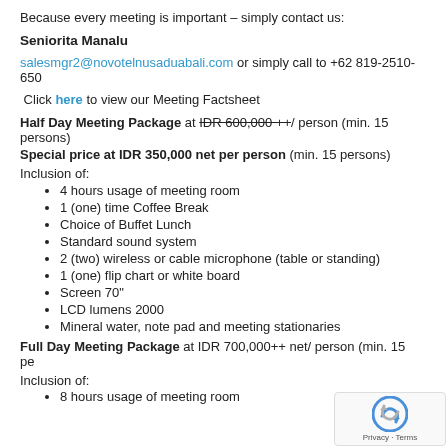Because every meeting is important – simply contact us:
Seniorita Manalu
salesmgr2@novotelnusaduabali.com or simply call to +62 819-2510-650
Click here to view our Meeting Factsheet
Half Day Meeting Package at IDR 600,000 ++/ person (min. 15 persons)
Special price at IDR 350,000 net per person (min. 15 persons)
Inclusion of:
4 hours usage of meeting room
1 (one) time Coffee Break
Choice of Buffet Lunch
Standard sound system
2 (two) wireless or cable microphone (table or standing)
1 (one) flip chart or white board
Screen 70"
LCD lumens 2000
Mineral water, note pad and meeting stationaries
Full Day Meeting Package at IDR 700,000++ net/ person (min. 15 persons)
Inclusion of:
8 hours usage of meeting room